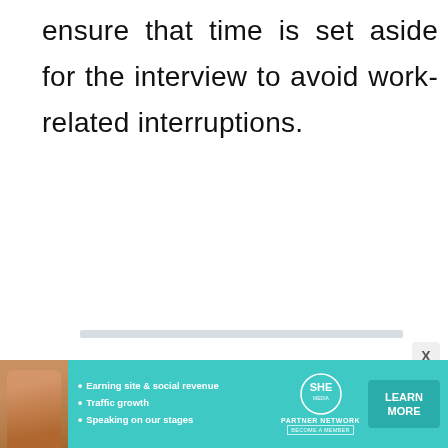ensure that time is set aside for the interview to avoid work-related interruptions.
[Figure (other): Horizontal light grey divider bar]
[Figure (other): Close button (X) overlay element]
[Figure (other): Advertisement banner for SHE Partner Network featuring a woman photo, bullet points: Earning site & social revenue, Traffic growth, Speaking on our stages, SHE logo, and LEARN MORE button]